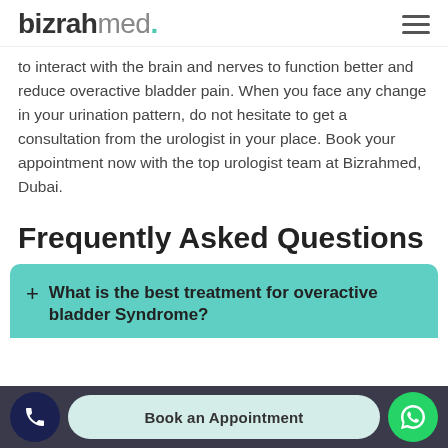bizrahmed.
to interact with the brain and nerves to function better and reduce overactive bladder pain. When you face any change in your urination pattern, do not hesitate to get a consultation from the urologist in your place. Book your appointment now with the top urologist team at Bizrahmed, Dubai.
Frequently Asked Questions
What is the best treatment for overactive bladder Syndrome?
Book an Appointment